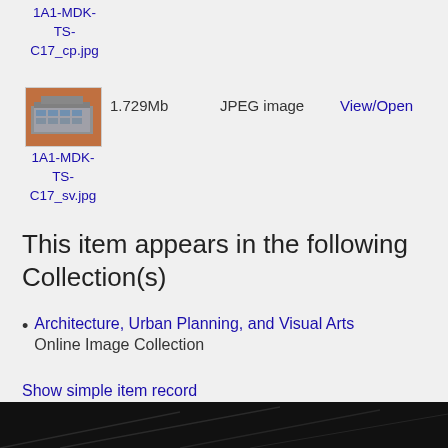1A1-MDK-TS-C17_cp.jpg
[Figure (photo): Thumbnail image of 1A1-MDK-TS-C17_sv.jpg showing a building/architectural structure]
1.729Mb   JPEG image   View/Open
1A1-MDK-TS-C17_sv.jpg
This item appears in the following Collection(s)
Architecture, Urban Planning, and Visual Arts Online Image Collection
Show simple item record